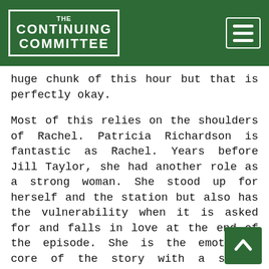THE CONTINUING COMMITTEE
huge chunk of this hour but that is perfectly okay.
Most of this relies on the shoulders of Rachel. Patricia Richardson is fantastic as Rachel. Years before Jill Taylor, she had another role as a strong woman. She stood up for herself and the station but also has the vulnerability when it is asked for and falls in love at the end of the episode. She is the emotional core of the story with a strong exterior hoping to not let her sensitive side come out too often or too much.
They would not be worth their salt if not for a good antagonist. Fred is exactly that, doing everything he can, and then some, to bring down the station. Cutting the power. Cutting the transmitter. He is pulling all the stops, quite literally. The script does a great job of letting us